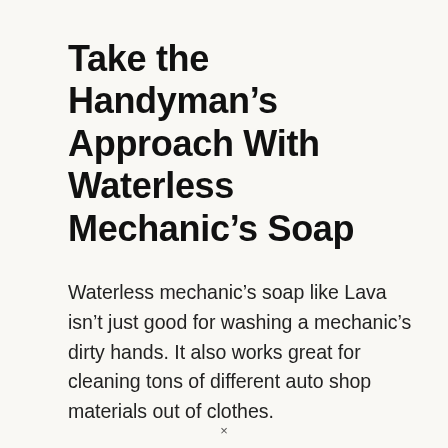Take the Handyman's Approach With Waterless Mechanic's Soap
Waterless mechanic's soap like Lava isn't just good for washing a mechanic's dirty hands. It also works great for cleaning tons of different auto shop materials out of clothes.
This is a dry soap. What that means is that you don't need to mix it with water in order to effectively lift your brake fluid stain. Here's how